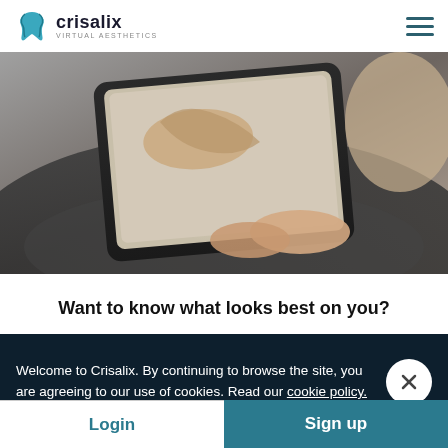Crisalix Virtual Aesthetics
[Figure (photo): Person holding a tablet showing a 3D body/foot model, viewed from above on a dark round table surface]
Want to know what looks best on you?
Welcome to Crisalix. By continuing to browse the site, you are agreeing to our use of cookies. Read our cookie policy.
Login
Sign up